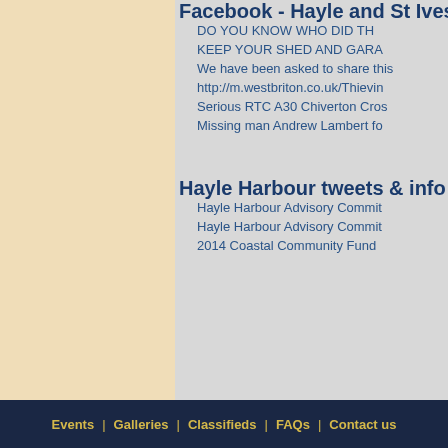Facebook - Hayle and St Ives
DO YOU KNOW WHO DID TH
KEEP YOUR SHED AND GARA
We have been asked to share this
http://m.westbriton.co.uk/Thievin
Serious RTC A30 Chiverton Cros
Missing man Andrew Lambert fo
Hayle Harbour tweets & info
Hayle Harbour Advisory Commit
Hayle Harbour Advisory Commit
2014 Coastal Community Fund
Events | Galleries | Classifieds | FAQs | Contact us